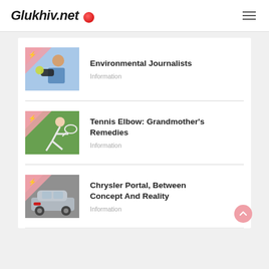Glukhiv.net
Environmental Journalists
Information
Tennis Elbow: Grandmother's Remedies
Information
Chrysler Portal, Between Concept And Reality
Information